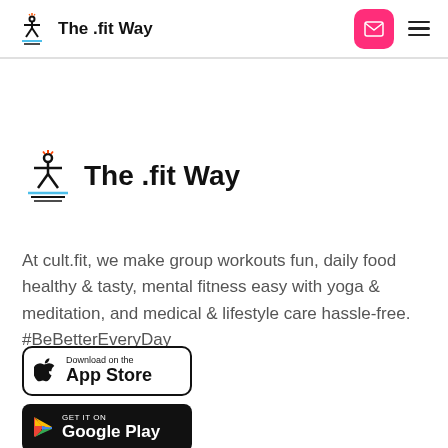The .fit Way
The .fit Way
At cult.fit, we make group workouts fun, daily food healthy & tasty, mental fitness easy with yoga & meditation, and medical & lifestyle care hassle-free. #BeBetterEveryDay
[Figure (logo): Download on the App Store button]
[Figure (logo): GET IT ON Google Play button]